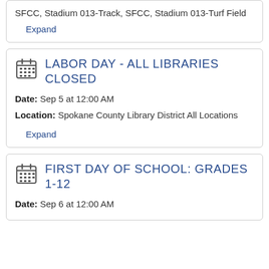SFCC, Stadium 013-Track, SFCC, Stadium 013-Turf Field
Expand
LABOR DAY - ALL LIBRARIES CLOSED
Date: Sep 5 at 12:00 AM
Location: Spokane County Library District All Locations
Expand
FIRST DAY OF SCHOOL: GRADES 1-12
Date: Sep 6 at 12:00 AM